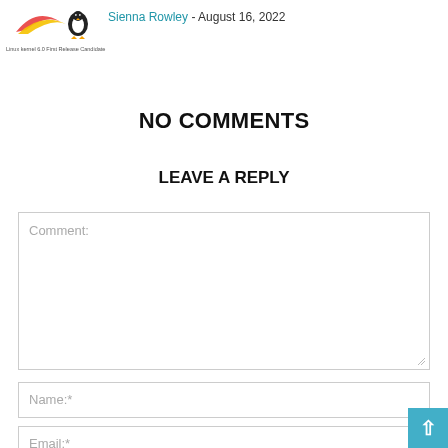[Figure (logo): Linux logo with penguin and red/yellow swoosh, with text 'Linux kernel 6.0 First Release Candidate']
Sienna Rowley - August 16, 2022
NO COMMENTS
LEAVE A REPLY
Comment:
Name:*
Email:*